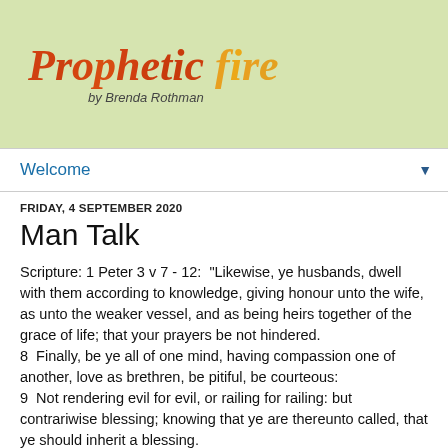[Figure (logo): Prophetic Fire logo with stylized italic text in orange/red gradient colors, subtitle 'by Brenda Rothman' below]
Welcome
FRIDAY, 4 SEPTEMBER 2020
Man Talk
Scripture: 1 Peter 3 v 7 - 12:  "Likewise, ye husbands, dwell with them according to knowledge, giving honour unto the wife, as unto the weaker vessel, and as being heirs together of the grace of life; that your prayers be not hindered.
8  Finally, be ye all of one mind, having compassion one of another, love as brethren, be pitiful, be courteous:
9  Not rendering evil for evil, or railing for railing: but contrariwise blessing; knowing that ye are thereunto called, that ye should inherit a blessing.
10  For he that will love life, and see good days, let him